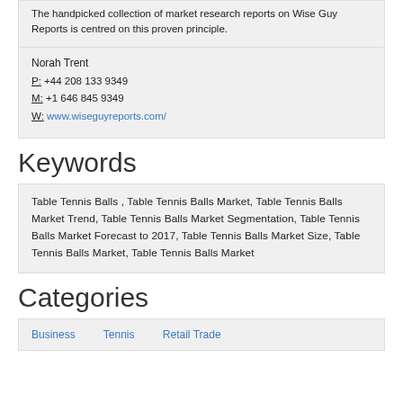The handpicked collection of market research reports on Wise Guy Reports is centred on this proven principle.
Norah Trent
P: +44 208 133 9349
M: +1 646 845 9349
W: www.wiseguyreports.com/
Keywords
Table Tennis Balls , Table Tennis Balls Market, Table Tennis Balls Market Trend, Table Tennis Balls Market Segmentation, Table Tennis Balls Market Forecast to 2017, Table Tennis Balls Market Size, Table Tennis Balls Market, Table Tennis Balls Market
Categories
Business   Tennis   Retail Trade